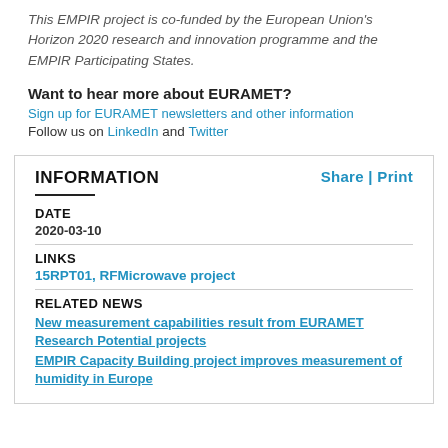This EMPIR project is co-funded by the European Union's Horizon 2020 research and innovation programme and the EMPIR Participating States.
Want to hear more about EURAMET?
Sign up for EURAMET newsletters and other information
Follow us on LinkedIn and Twitter
INFORMATION
Share | Print
DATE
2020-03-10
LINKS
15RPT01, RFMicrowave project
RELATED NEWS
New measurement capabilities result from EURAMET Research Potential projects
EMPIR Capacity Building project improves measurement of humidity in Europe